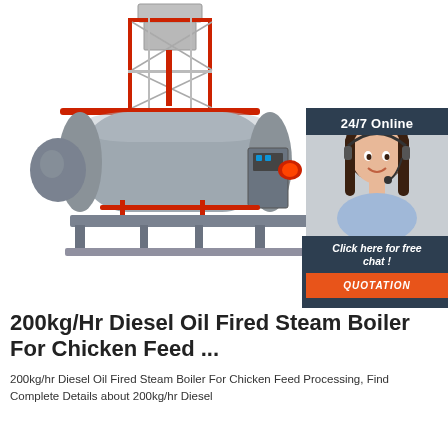[Figure (photo): Industrial diesel oil fired steam boiler with red pipe framework and scaffolding tower on top, grey cylindrical tank body, control panel on right side, mounted on a base frame. Product photograph on white background.]
[Figure (photo): Customer service chat widget showing a woman wearing a headset smiling, with '24/7 Online' header, 'Click here for free chat!' text, and an orange 'QUOTATION' button.]
200kg/Hr Diesel Oil Fired Steam Boiler For Chicken Feed ...
200kg/hr Diesel Oil Fired Steam Boiler For Chicken Feed Processing, Find Complete Details about 200kg/hr Diesel